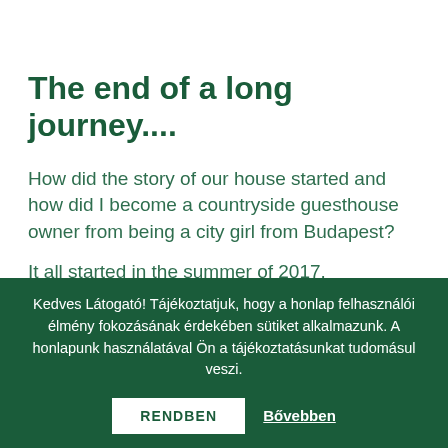The end of a long journey....
How did the story of our house started and how did I become a countryside guesthouse owner from being a city girl from Budapest?
It all started in the summer of 2017.
Kedves Látogató! Tájékoztatjuk, hogy a honlap felhasználói élmény fokozásának érdekében sütiket alkalmazunk. A honlapunk használatával Ön a tájékoztatásunkat tudomásul veszi.